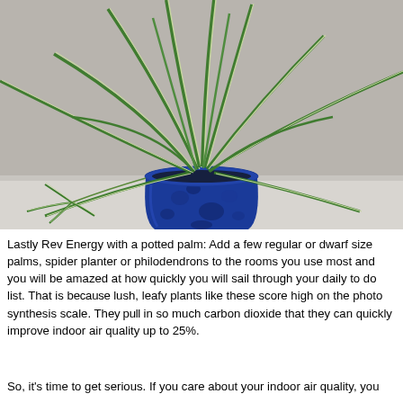[Figure (photo): A spider plant (Chlorophytum comosum) with long green and white striped leaves in a blue mottled ceramic pot, sitting on a white surface against a gray background. A small plantlet hangs to the lower left.]
Lastly Rev Energy with a potted palm: Add a few regular or dwarf size palms, spider planter or philodendrons to the rooms you use most and you will be amazed at how quickly you will sail through your daily to do list. That is because lush, leafy plants like these score high on the photo synthesis scale. They pull in so much carbon dioxide that they can quickly improve indoor air quality up to 25%.
So, it's time to get serious. If you care about your indoor air quality, you